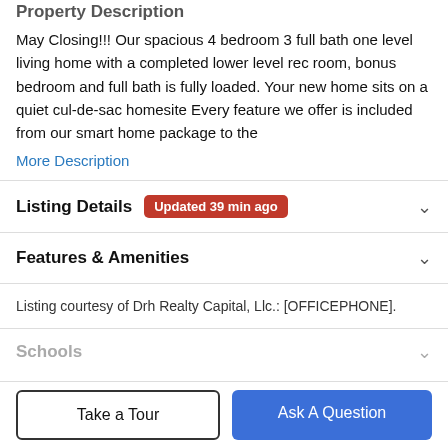Property Description
May Closing!!! Our spacious 4 bedroom 3 full bath one level living home with a completed lower level rec room, bonus bedroom and full bath is fully loaded. Your new home sits on a quiet cul-de-sac homesite Every feature we offer is included from our smart home package to the
More Description
Listing Details
Updated 39 min ago
Features & Amenities
Listing courtesy of Drh Realty Capital, Llc.: [OFFICEPHONE].
Schools
Take a Tour
Ask A Question
Payment Calculator